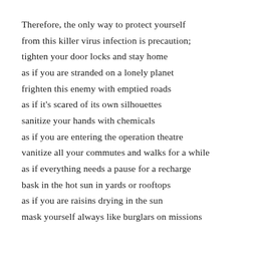Therefore, the only way to protect yourself
from this killer virus infection is precaution;
tighten your door locks and stay home
as if you are stranded on a lonely planet
frighten this enemy with emptied roads
as if it's scared of its own silhouettes
sanitize your hands with chemicals
as if you are entering the operation theatre
vanitize all your commutes and walks for a while
as if everything needs a pause for a recharge
bask in the hot sun in yards or rooftops
as if you are raisins drying in the sun
mask yourself always like burglars on missions